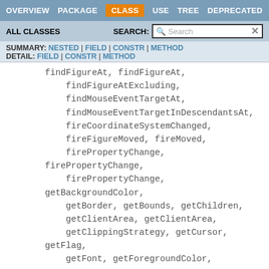OVERVIEW  PACKAGE  CLASS  USE  TREE  DEPRECATED
ALL CLASSES   SEARCH:
SUMMARY: NESTED | FIELD | CONSTR | METHOD
DETAIL: FIELD | CONSTR | METHOD
findFigureAt, findFigureAt,
findFigureAtExcluding,
findMouseEventTargetAt,
findMouseEventTargetInDescendantsAt,
fireCoordinateSystemChanged,
fireFigureMoved, fireMoved,
firePropertyChange, firePropertyChange,
firePropertyChange, getBackgroundColor,
getBorder, getBounds, getChildren,
getClientArea, getClientArea,
getClippingStrategy, getCursor, getFlag,
getFont, getForegroundColor, getInsets,
getLayoutManager, getListeners,
getLocalBackgroundColor, getLocalFont,
getLocalForegroundColor, getLocation,
getMaximumSize, getMinimumSize,
getMinimumSize, getParent,
getPreferredSize, getPreferredSize,